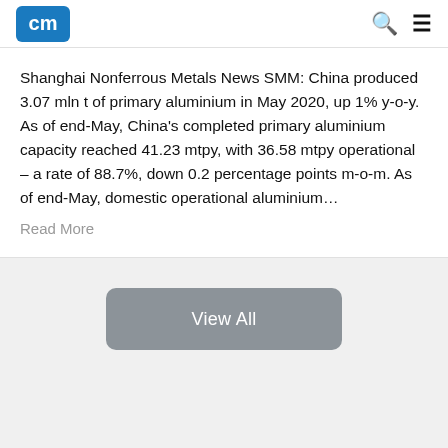CM [logo] | Search | Menu
Shanghai Nonferrous Metals News SMM: China produced 3.07 mln t of primary aluminium in May 2020, up 1% y-o-y. As of end-May, China's completed primary aluminium capacity reached 41.23 mtpy, with 36.58 mtpy operational – a rate of 88.7%, down 0.2 percentage points m-o-m. As of end-May, domestic operational aluminium…
Read More
View All